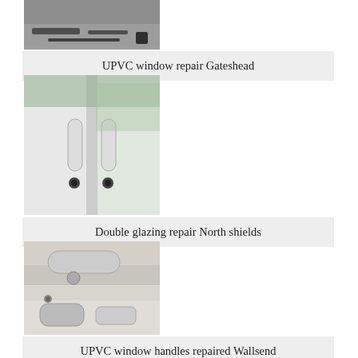[Figure (photo): Photo of UPVC window repair tools on a table, partially cropped at top]
UPVC window repair Gateshead
[Figure (photo): Photo of a UPVC window with handle and lock mechanism visible, outdoor balcony background]
Double glazing repair North shields
[Figure (photo): Photo of UPVC window handles and locking hardware laid out on a surface]
UPVC window handles repaired Wallsend